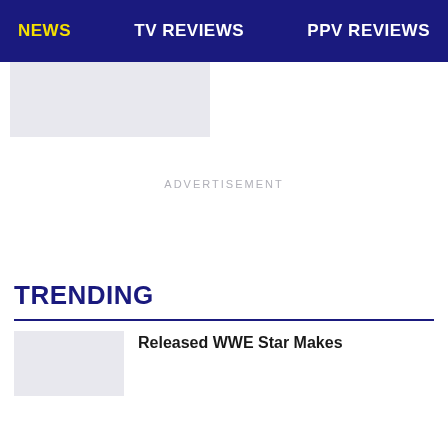NEWS | TV REVIEWS | PPV REVIEWS
ADVERTISEMENT
TRENDING
Released WWE Star Makes